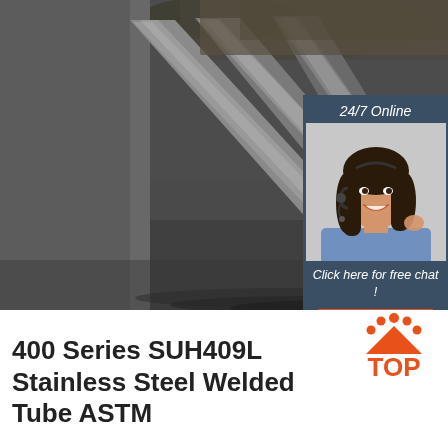[Figure (photo): Three long stainless steel round bars/rods lying parallel on a dark surface in an industrial setting]
[Figure (photo): Customer service representative woman with headset smiling, shown in a dark blue sidebar panel with '24/7 Online' heading and 'Click here for free chat!' text with orange QUOTATION button]
400 Series SUH409L Stainless Steel Welded Tube ASTM